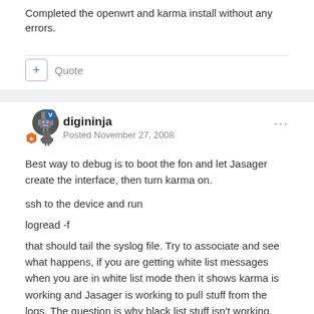Completed the openwrt and karma install without any errors.
Quote
digininja
Posted November 27, 2008
Best way to debug is to boot the fon and let Jasager create the interface, then turn karma on.
ssh to the device and run
logread -f
that should tail the syslog file. Try to associate and see what happens, if you are getting white list messages when you are in white list mode then it shows karma is working and Jasager is working to pull stuff from the logs. The question is why black list stuff isn't working.